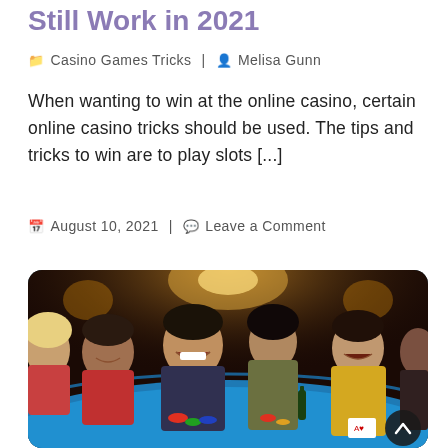Still Work in 2021
Casino Games Tricks | Melisa Gunn
When wanting to win at the online casino, certain online casino tricks should be used. The tips and tricks to win are to play slots [...]
August 10, 2021 | Leave a Comment
[Figure (photo): Group of young adults smiling and laughing around a casino blackjack table with blue felt, holding cards and chips, warm lighting in background.]